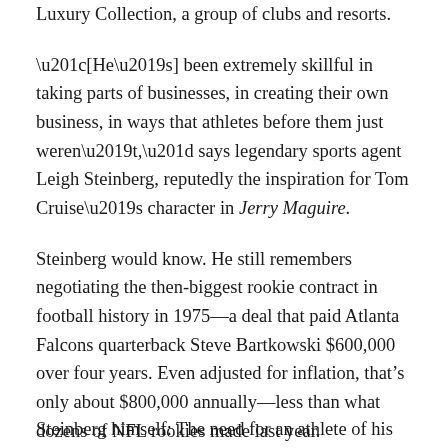Luxury Collection, a group of clubs and resorts.
“[He’s] been extremely skillful in taking parts of businesses, in creating their own business, in ways that athletes before them just weren’t,” says legendary sports agent Leigh Steinberg, reputedly the inspiration for Tom Cruise’s character in Jerry Maguire.
Steinberg would know. He still remembers negotiating the then-biggest rookie contract in football history in 1975—a deal that paid Atlanta Falcons quarterback Steve Bartkowski $600,000 over four years. Even adjusted for inflation, that’s only about $800,000 annually—less than what dozens of NFL rookies made last year.
Steinberg himself: The need for an athlete of his...